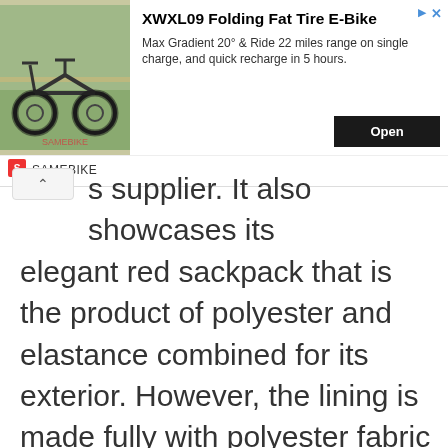[Figure (infographic): Advertisement banner for XWXL09 Folding Fat Tire E-Bike by SAMEBIKE. Shows image of folding e-bike, product title, description text, and Open button.]
s supplier. It also showcases its elegant red sackpack that is the product of polyester and elastance combined for its exterior. However, the lining is made fully with polyester fabric to extend durability and comfy when you touch. It also provides up to 8 color options which you can choose between red, black, blue, black grey, pitch grey, academy, and more.
Along with this, the shoulder straps are adjustable and you can drop it as low as 9